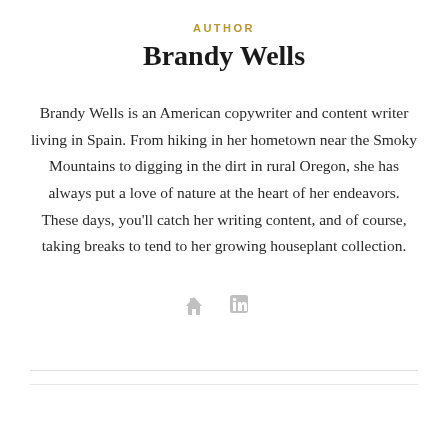AUTHOR
Brandy Wells
Brandy Wells is an American copywriter and content writer living in Spain. From hiking in her hometown near the Smoky Mountains to digging in the dirt in rural Oregon, she has always put a love of nature at the heart of her endeavors. These days, you'll catch her writing content, and of course, taking breaks to tend to her growing houseplant collection.
[Figure (other): Social media icons: house/home icon and LinkedIn icon, rendered in light gray]